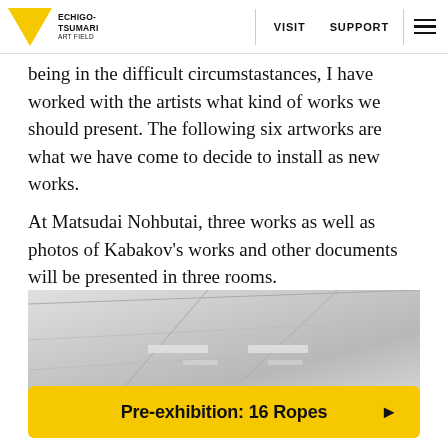ECHIGO-TSUMARI ART FIELD | VISIT | SUPPORT
being in the difficult circumstastances, I have worked with the artists what kind of works we should present. The following six artworks are what we have come to decide to install as new works.
At Matsudai Nohbutai, three works as well as photos of Kabakov's works and other documents will be presented in three rooms.
[Figure (photo): Interior ceiling of an art installation space, showing ceiling panels with diagonal lines and recessed lighting, in a white/grey gallery setting.]
Pre-exhibition: 16 Ropes